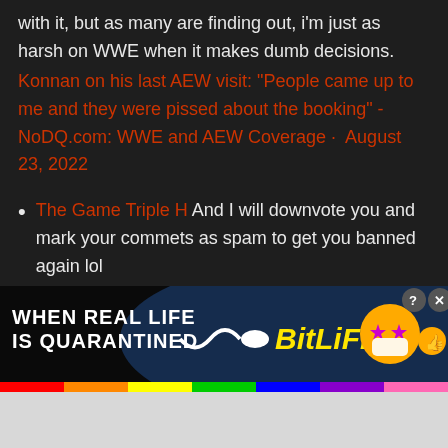with it, but as many are finding out, i'm just as harsh on WWE when it makes dumb decisions.
Konnan on his last AEW visit: "People came up to me and they were pissed about the booking" - NoDQ.com: WWE and AEW Coverage · August 23, 2022
The Game Triple H And I will downvote you and mark your commets as spam to get you banned again lol
New details regarding the backstage atmosphere in WWE since Vince McMahon's departure · August
[Figure (screenshot): BitLife advertisement banner: 'WHEN REAL LIFE IS QUARANTINED' with rainbow stripe and BitLife logo]